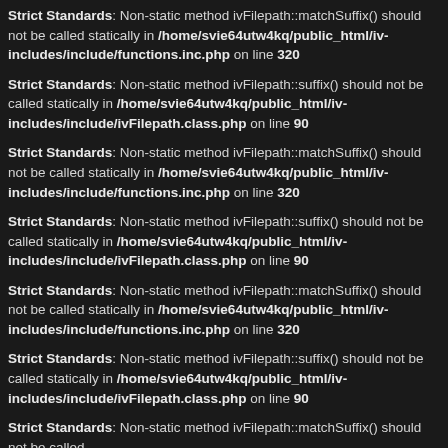Strict Standards: Non-static method ivFilepath::matchSuffix() should not be called statically in /home/svie64utw4kq/public_html/iv-includes/include/functions.inc.php on line 320
Strict Standards: Non-static method ivFilepath::suffix() should not be called statically in /home/svie64utw4kq/public_html/iv-includes/include/ivFilepath.class.php on line 90
Strict Standards: Non-static method ivFilepath::matchSuffix() should not be called statically in /home/svie64utw4kq/public_html/iv-includes/include/functions.inc.php on line 320
Strict Standards: Non-static method ivFilepath::suffix() should not be called statically in /home/svie64utw4kq/public_html/iv-includes/include/ivFilepath.class.php on line 90
Strict Standards: Non-static method ivFilepath::matchSuffix() should not be called statically in /home/svie64utw4kq/public_html/iv-includes/include/functions.inc.php on line 320
Strict Standards: Non-static method ivFilepath::suffix() should not be called statically in /home/svie64utw4kq/public_html/iv-includes/include/ivFilepath.class.php on line 90
Strict Standards: Non-static method ivFilepath::matchSuffix() should not be called statically in